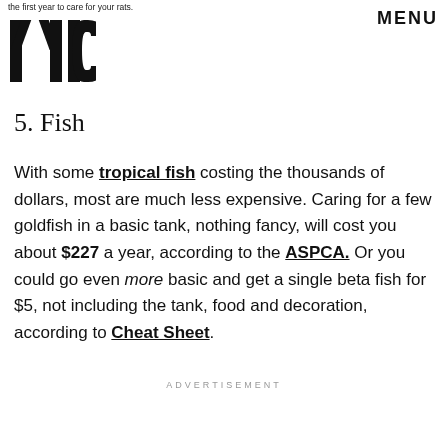the first year to care for your rats.
MENU
[Figure (logo): MIC logo in bold block letters]
5. Fish
With some tropical fish costing the thousands of dollars, most are much less expensive. Caring for a few goldfish in a basic tank, nothing fancy, will cost you about $227 a year, according to the ASPCA. Or you could go even more basic and get a single beta fish for $5, not including the tank, food and decoration, according to Cheat Sheet.
ADVERTISEMENT